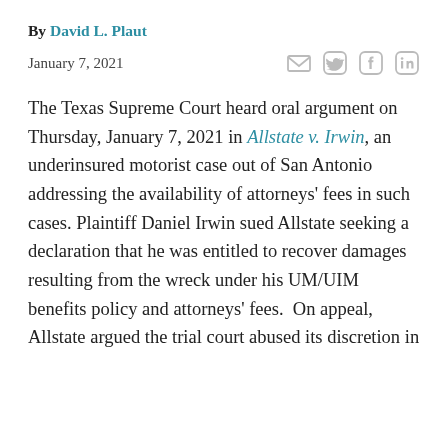By David L. Plaut
January 7, 2021
The Texas Supreme Court heard oral argument on Thursday, January 7, 2021 in Allstate v. Irwin, an underinsured motorist case out of San Antonio addressing the availability of attorneys' fees in such cases. Plaintiff Daniel Irwin sued Allstate seeking a declaration that he was entitled to recover damages resulting from the wreck under his UM/UIM benefits policy and attorneys' fees.  On appeal, Allstate argued the trial court abused its discretion in